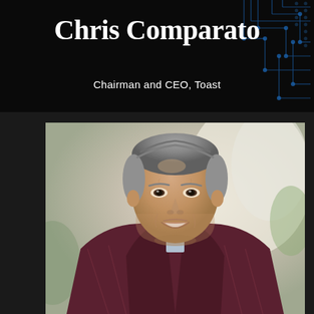Chris Comparato
Chairman and CEO, Toast
[Figure (photo): Professional headshot of Chris Comparato, a middle-aged man with gray hair, smiling, wearing a dark burgundy/plaid blazer over a light blue shirt, photographed against a blurred bright indoor background.]